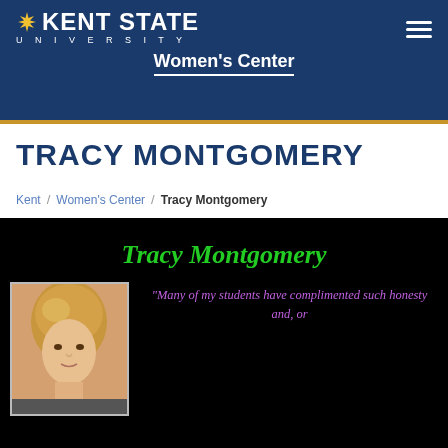Kent State University — Women's Center
TRACY MONTGOMERY
Kent / Women's Center / Tracy Montgomery
[Figure (photo): Profile page for Tracy Montgomery on Kent State University Women's Center website. Black background panel showing green italic text 'Tracy Montgomery', a photo of a woman with blonde hair, and a purple italic quote beginning 'Many of my students have complimented such honesty and, or']